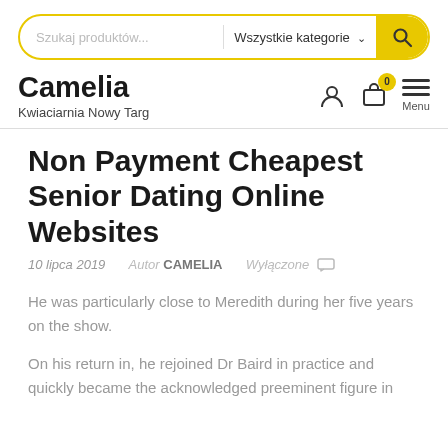[Figure (screenshot): Search bar with 'Szukaj produktów...' placeholder, 'Wszystkie kategorie' dropdown, and yellow search button with magnifying glass icon]
Camelia
Kwiaciarnia Nowy Targ
Non Payment Cheapest Senior Dating Online Websites
10 lipca 2019   Autor CAMELIA   Wyłączone
He was particularly close to Meredith during her five years on the show.
On his return in, he rejoined Dr Baird in practice and quickly became the acknowledged preeminent figure in